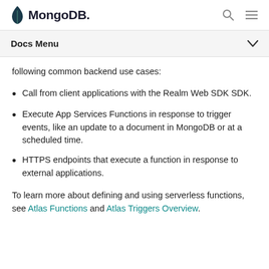MongoDB
Docs Menu
following common backend use cases:
Call from client applications with the Realm Web SDK SDK.
Execute App Services Functions in response to trigger events, like an update to a document in MongoDB or at a scheduled time.
HTTPS endpoints that execute a function in response to external applications.
To learn more about defining and using serverless functions, see Atlas Functions and Atlas Triggers Overview.